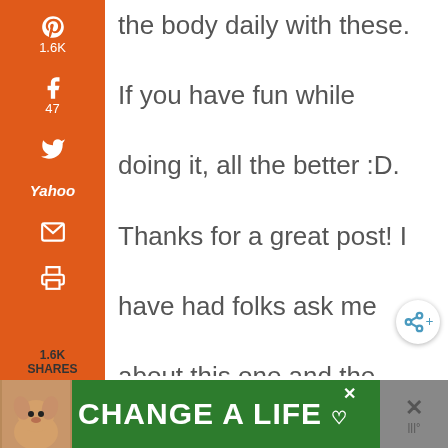[Figure (screenshot): Social media share sidebar with Pinterest (1.6K), Facebook (47), Twitter, Yahoo, Email, Print icons on orange background]
the body daily with these.

If you have fun while

doing it, all the better :D.

Thanks for a great post! I

have had folks ask me

about this one and the

balloon test is a good one

to decide for oneself what
[Figure (screenshot): Green advertisement bar at bottom reading CHANGE A LIFE with a dog photo]